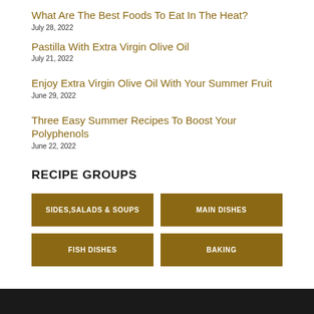What Are The Best Foods To Eat In The Heat?
July 28, 2022
Pastilla With Extra Virgin Olive Oil
July 21, 2022
Enjoy Extra Virgin Olive Oil With Your Summer Fruit
June 29, 2022
Three Easy Summer Recipes To Boost Your Polyphenols
June 22, 2022
RECIPE GROUPS
SIDES, SALADS & SOUPS
MAIN DISHES
FISH DISHES
BAKING